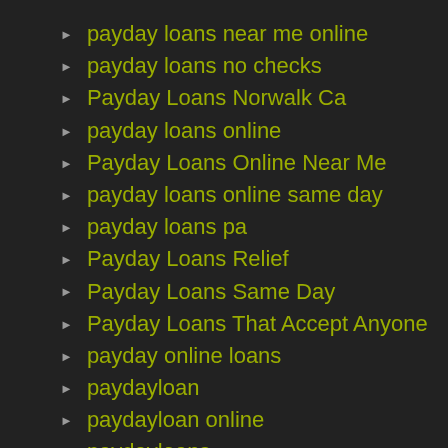payday loans near me online
payday loans no checks
Payday Loans Norwalk Ca
payday loans online
Payday Loans Online Near Me
payday loans online same day
payday loans pa
Payday Loans Relief
Payday Loans Same Day
Payday Loans That Accept Anyone
payday online loans
paydayloan
paydayloan online
paydayloans